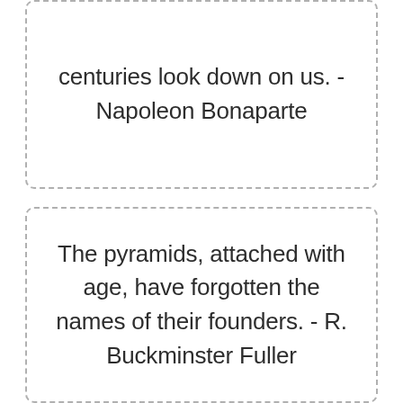centuries look down on us. - Napoleon Bonaparte
The pyramids, attached with age, have forgotten the names of their founders. - R. Buckminster Fuller